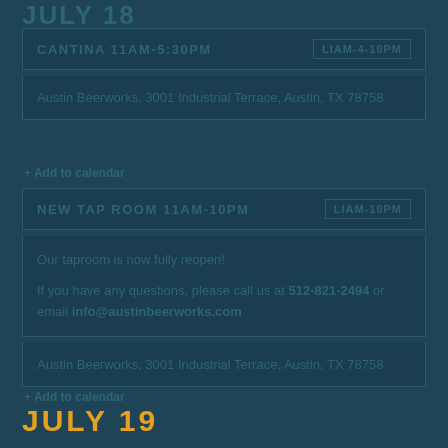JULY 18
CANTINA 11AM-5:30PM | LIAM-4-10PM
Austin Beerworks, 3001 Industrial Terrace, Austin, TX 78758
+ Add to calendar
NEW TAP ROOM 11AM-10PM | LIAM-10PM
Our taproom is now fully reopen!

If you have any questions, please call us at 512-821-2494 or email info@austinbeerworks.com
Austin Beerworks, 3001 Industrial Terrace, Austin, TX 78758
+ Add to calendar
JULY 19